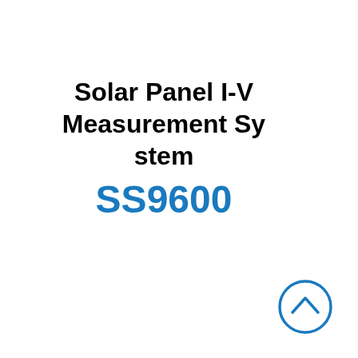Solar Panel I-V Measurement System SS9600
[Figure (other): Blue circle with upward chevron arrow icon, positioned at bottom-right of page]